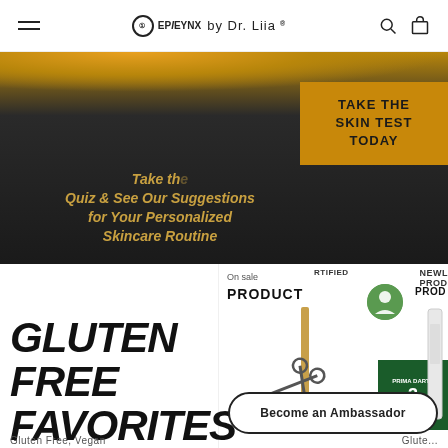EpicLynx by Dr. Liia
[Figure (screenshot): Hero banner with dark background and golden glow, showing skin test quiz promotion with golden text and an orange CTA button]
TAKE THE SKIN TEST TODAY
Take the Quiz & See Our Suggestions for Your Personalized Skincare Routine
[Figure (screenshot): Product carousel showing eyeliner product with scissors graphic, primer box with green label, On sale tag, CERTIFIED badge with think skin icon, and NEWLY badge on right]
GLUTEN FREE FAVORITES
Become an Ambassador
Gluten Free, Vegan   Glute...